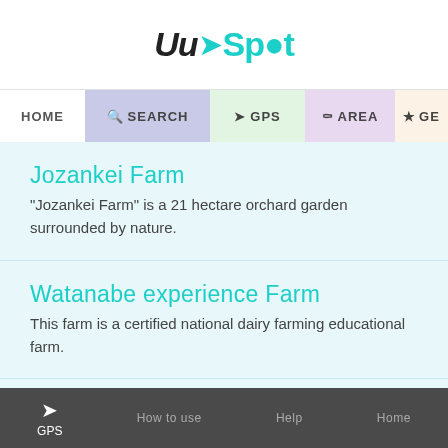Uu Spot
HOME | SEARCH | GPS | AREA | GE
Jozankei Farm
"Jozankei Farm" is a 21 hectare orchard garden surrounded by nature.
Watanabe experience Farm
This farm is a certified national dairy farming educational farm.
Shikotsu Guide House CANOA
Canoa ties up with genuine outdoor gear manufacturers to provide comfortable and safe outdoor experiences to our guests.
GPS | How to use | Help | Home